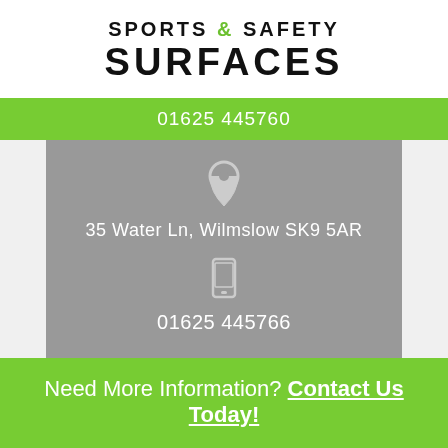SPORTS & SAFETY SURFACES
01625 445760
[Figure (infographic): Grey map card with location pin icon, address 35 Water Ln, Wilmslow SK9 5AR, phone icon, and phone number 01625 445766]
Need More Information? Contact Us Today!